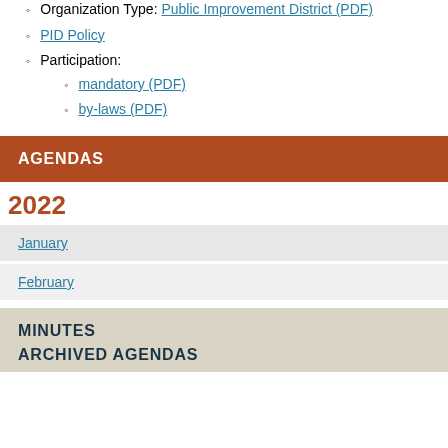Organization Type: Public Improvement District (PDF)
PID Policy
Participation:
mandatory (PDF)
by-laws (PDF)
AGENDAS
2022
January
February
MINUTES
ARCHIVED AGENDAS